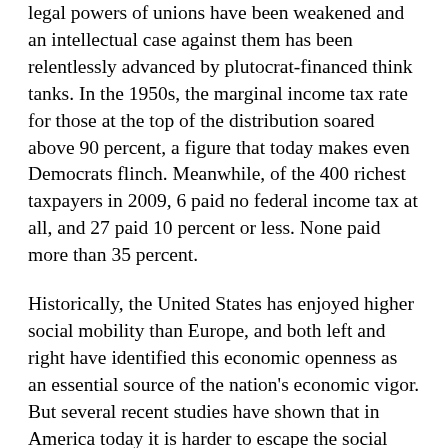legal powers of unions have been weakened and an intellectual case against them has been relentlessly advanced by plutocrat-financed think tanks. In the 1950s, the marginal income tax rate for those at the top of the distribution soared above 90 percent, a figure that today makes even Democrats flinch. Meanwhile, of the 400 richest taxpayers in 2009, 6 paid no federal income tax at all, and 27 paid 10 percent or less. None paid more than 35 percent.
Historically, the United States has enjoyed higher social mobility than Europe, and both left and right have identified this economic openness as an essential source of the nation's economic vigor. But several recent studies have shown that in America today it is harder to escape the social class of your birth than it is in Europe. The Canadian economist Miles Corak has found that as income inequality increases, social mobility falls – a phenomenon Alan B. Krueger, the chairman of the White House Council of Economic Advisers, has called